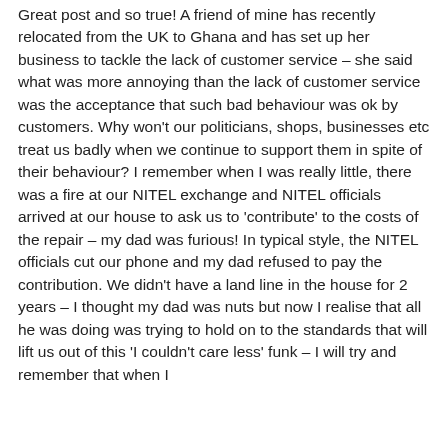Great post and so true! A friend of mine has recently relocated from the UK to Ghana and has set up her business to tackle the lack of customer service – she said what was more annoying than the lack of customer service was the acceptance that such bad behaviour was ok by customers. Why won't our politicians, shops, businesses etc treat us badly when we continue to support them in spite of their behaviour? I remember when I was really little, there was a fire at our NITEL exchange and NITEL officials arrived at our house to ask us to 'contribute' to the costs of the repair – my dad was furious! In typical style, the NITEL officials cut our phone and my dad refused to pay the contribution. We didn't have a land line in the house for 2 years – I thought my dad was nuts but now I realise that all he was doing was trying to hold on to the standards that will lift us out of this 'I couldn't care less' funk – I will try and remember that when I